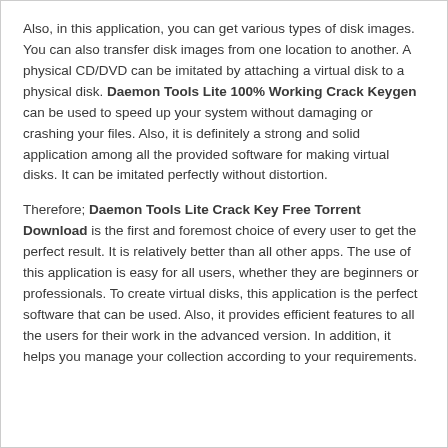Also, in this application, you can get various types of disk images. You can also transfer disk images from one location to another. A physical CD/DVD can be imitated by attaching a virtual disk to a physical disk. Daemon Tools Lite 100% Working Crack Keygen can be used to speed up your system without damaging or crashing your files. Also, it is definitely a strong and solid application among all the provided software for making virtual disks. It can be imitated perfectly without distortion.
Therefore; Daemon Tools Lite Crack Key Free Torrent Download is the first and foremost choice of every user to get the perfect result. It is relatively better than all other apps. The use of this application is easy for all users, whether they are beginners or professionals. To create virtual disks, this application is the perfect software that can be used. Also, it provides efficient features to all the users for their work in the advanced version. In addition, it helps you manage your collection according to your requirements.